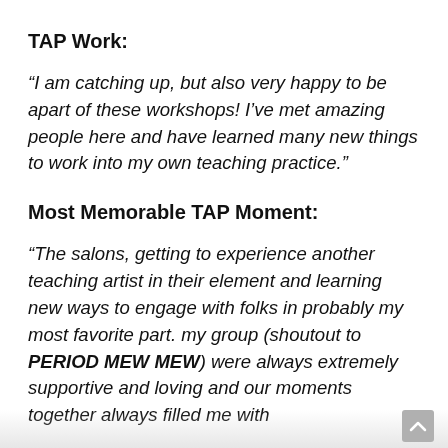TAP Work:
“I am catching up, but also very happy to be apart of these workshops! I’ve met amazing people here and have learned many new things to work into my own teaching practice.”
Most Memorable TAP Moment:
“The salons, getting to experience another teaching artist in their element and learning new ways to engage with folks in probably my most favorite part. my group (shoutout to PERIOD MEW MEW) were always extremely supportive and loving and our moments together always filled me with